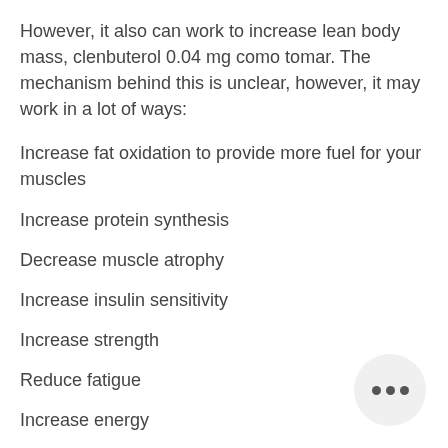However, it also can work to increase lean body mass, clenbuterol 0.04 mg como tomar. The mechanism behind this is unclear, however, it may work in a lot of ways:
Increase fat oxidation to provide more fuel for your muscles
Increase protein synthesis
Decrease muscle atrophy
Increase insulin sensitivity
Increase strength
Reduce fatigue
Increase energy
If you work out for a long period, it is